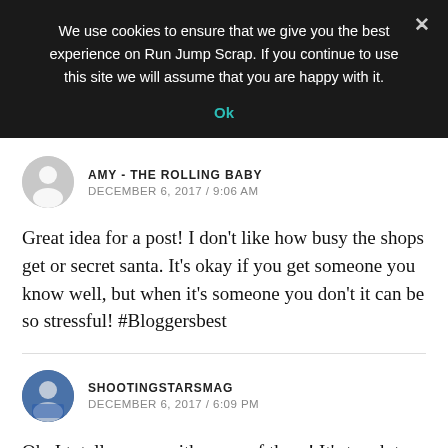We use cookies to ensure that we give you the best experience on Run Jump Scrap. If you continue to use this site we will assume that you are happy with it.
Ok
AMY - THE ROLLING BABY
DECEMBER 6, 2017 / 9:06 AM
Great idea for a post! I don't like how busy the shops get or secret santa. It's okay if you get someone you know well, but when it's someone you don't it can be so stressful! #Bloggersbest
SHOOTINGSTARSMAG
DECEMBER 6, 2017 / 6:09 PM
Oh, I totally agree with some of these! It's tough to fit